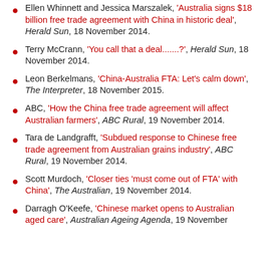Ellen Whinnett and Jessica Marszalek, 'Australia signs $18 billion free trade agreement with China in historic deal', Herald Sun, 18 November 2014.
Terry McCrann, 'You call that a deal.......?', Herald Sun, 18 November 2014.
Leon Berkelmans, 'China-Australia FTA: Let's calm down', The Interpreter, 18 November 2015.
ABC, 'How the China free trade agreement will affect Australian farmers', ABC Rural, 19 November 2014.
Tara de Landgrafft, 'Subdued response to Chinese free trade agreement from Australian grains industry', ABC Rural, 19 November 2014.
Scott Murdoch, 'Closer ties 'must come out of FTA' with China', The Australian, 19 November 2014.
Darragh O'Keefe, 'Chinese market opens to Australian aged care', Australian Ageing Agenda, 19 November